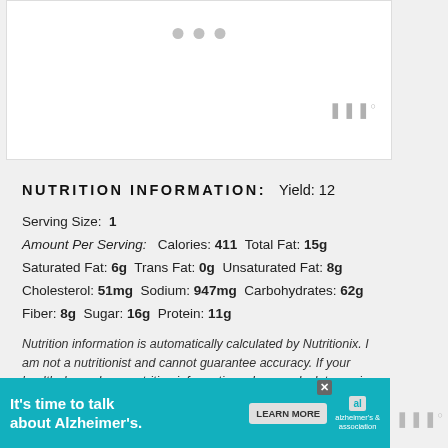[Figure (screenshot): White box with three gray dots (loading indicator) and a watermark logo in bottom right corner]
NUTRITION INFORMATION: Yield: 12
Serving Size: 1
Amount Per Serving: Calories: 411 Total Fat: 15g
Saturated Fat: 6g Trans Fat: 0g Unsaturated Fat: 8g
Cholesterol: 51mg Sodium: 947mg Carbohydrates: 62g
Fiber: 8g Sugar: 16g Protein: 11g
Nutrition information is automatically calculated by Nutritionix. I am not a nutritionist and cannot guarantee accuracy. If your health depends on nutrition information, please calculate again with your own favorite calculator.
[Figure (screenshot): Advertisement banner for Alzheimer's Association with text 'It's time to talk about Alzheimer's.' and a Learn More button]